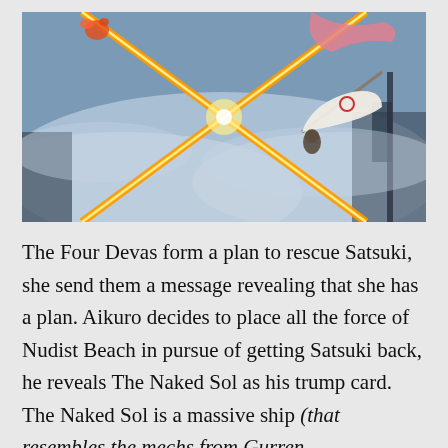[Figure (illustration): Anime scene from Kill la Kill showing characters in mid-air combat with crossing golden/orange energy beams forming an X shape, set against a misty, smoky battlefield background. A character is visible holding a white flag-like object in the upper right.]
The Four Devas form a plan to rescue Satsuki, she send them a message revealing that she has a plan. Aikuro decides to place all the force of Nudist Beach in pursue of getting Satsuki back, he reveals The Naked Sol as his trump card. The Naked Sol is a massive ship (that resembles the mechs from Gurren